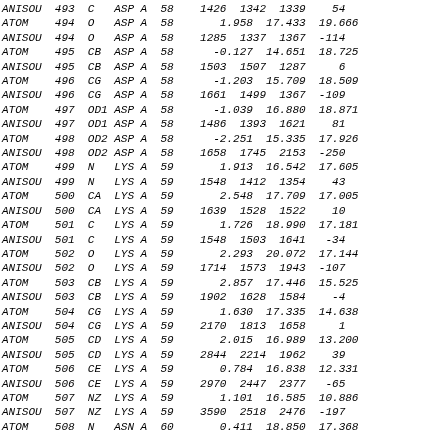| ANISOU | 493 | C | ASP | A | 58 | 1426 | 1342 | 1339 | 54 |
| ATOM | 494 | O | ASP | A | 58 | 1.958 | 17.433 | 19.666 |  |
| ANISOU | 494 | O | ASP | A | 58 | 1285 | 1337 | 1367 | -114 |
| ATOM | 495 | CB | ASP | A | 58 | -0.127 | 14.651 | 18.725 |  |
| ANISOU | 495 | CB | ASP | A | 58 | 1503 | 1507 | 1287 | 6 |
| ATOM | 496 | CG | ASP | A | 58 | -1.203 | 15.709 | 18.509 |  |
| ANISOU | 496 | CG | ASP | A | 58 | 1661 | 1499 | 1367 | -109 |
| ATOM | 497 | OD1 | ASP | A | 58 | -1.039 | 16.880 | 18.871 |  |
| ANISOU | 497 | OD1 | ASP | A | 58 | 1486 | 1393 | 1621 | 81 |
| ATOM | 498 | OD2 | ASP | A | 58 | -2.251 | 15.335 | 17.926 |  |
| ANISOU | 498 | OD2 | ASP | A | 58 | 1658 | 1745 | 2153 | -250 |
| ATOM | 499 | N | LYS | A | 59 | 1.913 | 16.542 | 17.605 |  |
| ANISOU | 499 | N | LYS | A | 59 | 1548 | 1412 | 1354 | 43 |
| ATOM | 500 | CA | LYS | A | 59 | 2.548 | 17.709 | 17.005 |  |
| ANISOU | 500 | CA | LYS | A | 59 | 1639 | 1528 | 1522 | 10 |
| ATOM | 501 | C | LYS | A | 59 | 1.726 | 18.990 | 17.181 |  |
| ANISOU | 501 | C | LYS | A | 59 | 1548 | 1503 | 1641 | -34 |
| ATOM | 502 | O | LYS | A | 59 | 2.293 | 20.072 | 17.144 |  |
| ANISOU | 502 | O | LYS | A | 59 | 1714 | 1573 | 1943 | -107 |
| ATOM | 503 | CB | LYS | A | 59 | 2.857 | 17.446 | 15.525 |  |
| ANISOU | 503 | CB | LYS | A | 59 | 1902 | 1628 | 1584 | -4 |
| ATOM | 504 | CG | LYS | A | 59 | 1.630 | 17.335 | 14.638 |  |
| ANISOU | 504 | CG | LYS | A | 59 | 2170 | 1813 | 1658 | 1 |
| ATOM | 505 | CD | LYS | A | 59 | 2.015 | 16.989 | 13.200 |  |
| ANISOU | 505 | CD | LYS | A | 59 | 2844 | 2214 | 1962 | 39 |
| ATOM | 506 | CE | LYS | A | 59 | 0.784 | 16.838 | 12.331 |  |
| ANISOU | 506 | CE | LYS | A | 59 | 2970 | 2447 | 2377 | -65 |
| ATOM | 507 | NZ | LYS | A | 59 | 1.101 | 16.585 | 10.886 |  |
| ANISOU | 507 | NZ | LYS | A | 59 | 3590 | 2518 | 2476 | -197 |
| ATOM | 508 | N | ASN | A | 60 | 0.411 | 18.850 | 17.368 |  |